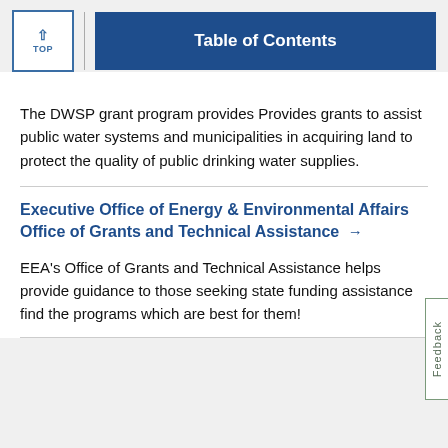TOP | Table of Contents
The DWSP grant program provides Provides grants to assist public water systems and municipalities in acquiring land to protect the quality of public drinking water supplies.
Executive Office of Energy & Environmental Affairs Office of Grants and Technical Assistance →
EEA's Office of Grants and Technical Assistance helps provide guidance to those seeking state funding assistance find the programs which are best for them!